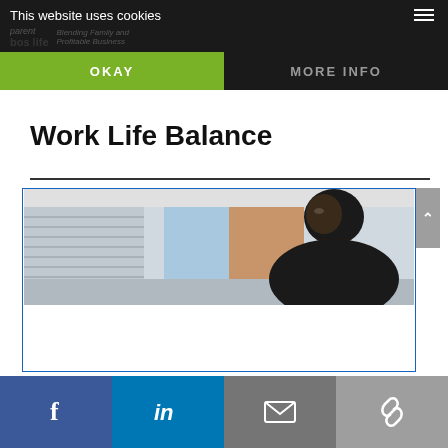This website uses cookies
OKAY
MORE INFO
Work Life Balance
[Figure (photo): A man in a bright office hallway, blurred background with blinds and warm-toned panel, man appears to be smiling, cropped to show head and shoulders]
Facebook | LinkedIn | Email | Link share social buttons